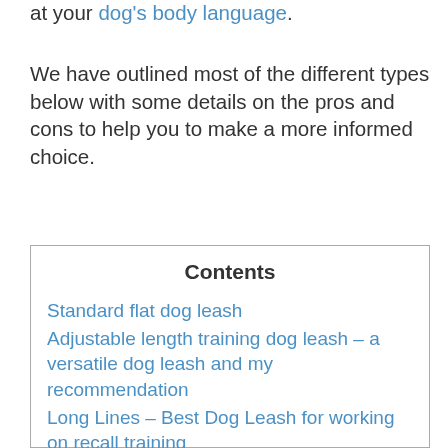at your dog's body language.
We have outlined most of the different types below with some details on the pros and cons to help you to make a more informed choice.
Contents
Standard flat dog leash
Adjustable length training dog leash – a versatile dog leash and my recommendation
Long Lines – Best Dog Leash for working on recall training
Flexi/Retractable Dog Leash